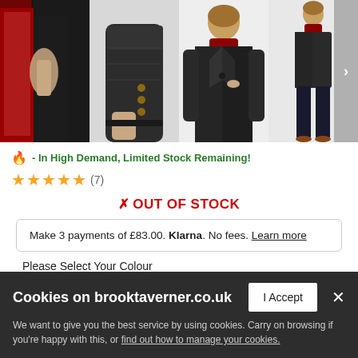[Figure (photo): Four product images of a dark tweed/herringbone blazer: lining detail, sleeve/button detail, model wearing jacket with turtleneck, full-length model view. Navigation arrow on right.]
🔥 - In High Demand, Limited Stock Remaining!
★★★★★ (7)
✗ OUT OF STOCK
Make 3 payments of £83.00. Klarna. No fees. Learn more
Please Select Your Colour
Cookies on brooktaverner.co.uk
I Accept
We want to give you the best service by using cookies. Carry on browsing if you're happy with this, or find out how to manage your cookies.